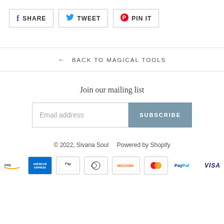SHARE
TWEET
PIN IT
← BACK TO MAGICAL TOOLS
Join our mailing list
Email address
SUBSCRIBE
© 2022, Sivana Soul    Powered by Shopify
[Figure (other): Payment method icons: Amazon Pay, American Express, Apple Pay, Diners Club, Discover, Mastercard, PayPal, Visa]